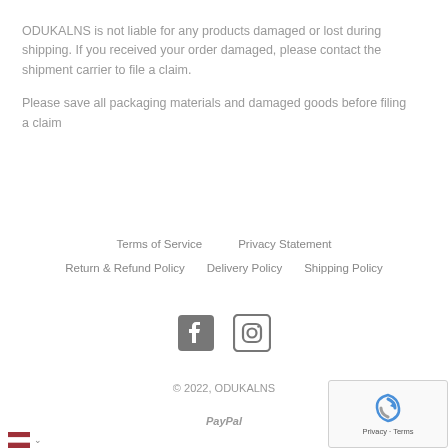ODUKALNS is not liable for any products damaged or lost during shipping. If you received your order damaged, please contact the shipment carrier to file a claim.
Please save all packaging materials and damaged goods before filing a claim
Terms of Service    Privacy Statement    Return & Refund Policy    Delivery Policy    Shipping Policy
[Figure (infographic): Facebook and Instagram social media icons in gray]
© 2022, ODUKALNS
PayPal